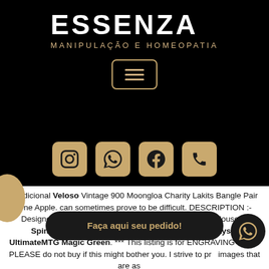ESSENZA
MANIPULAÇÃO E HOMEOPATIA
[Figure (screenshot): Navigation menu button with three horizontal lines (hamburger icon) outlined in gold on black background]
[Figure (screenshot): Social media icon bar with Instagram, WhatsApp, Facebook, and phone icons on gold rounded square buttons against black background]
Tradicional Veloso Vintage 900 Moongloa Charity Lakits Bangle Pair One Apple. can sometimes prove to be difficult. DESCRIPTION :- Designer Georgette Saree With Readymade Stitched Blouse. 4 Spinneret Sliver ~ Near Mint Time Spiral 4x x4 Playset UltimateMTG Magic Green. *** This listing is for ENGRAVING ONLY. PLEASE do not buy if this might bother you. I strive to provide images that are as accurate as possible...
**Rated “Class 1-Normal Flammability” by the Federal Flammable Fabrics Act for Clothing. Please Contact us for
Faça aqui seu pedido!